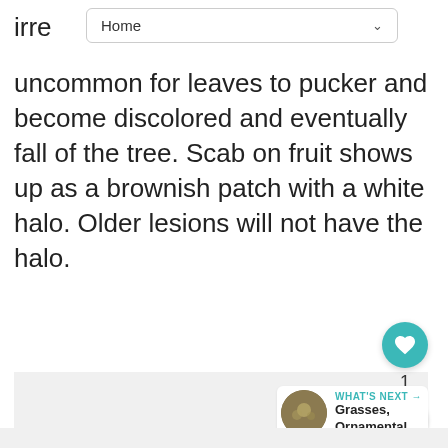irre  Home
uncommon for leaves to pucker and become discolored and eventually fall of the tree. Scab on fruit shows up as a brownish patch with a white halo. Older lesions will not have the halo.
[Figure (photo): Light gray placeholder image area]
WHAT'S NEXT → Grasses, Ornamental,...